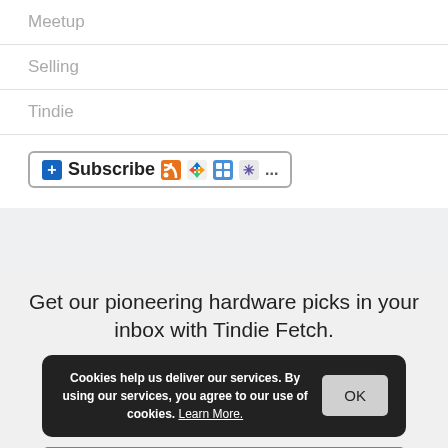Meetup
Selling
Tindie
[Figure (screenshot): Subscribe button with RSS, Windows, Bloglines, Snowflake, and more icons]
Get our pioneering hardware picks in your inbox with Tindie Fetch.
Cookies help us deliver our services. By using our services, you agree to our use of cookies. Learn More.
Subscribe